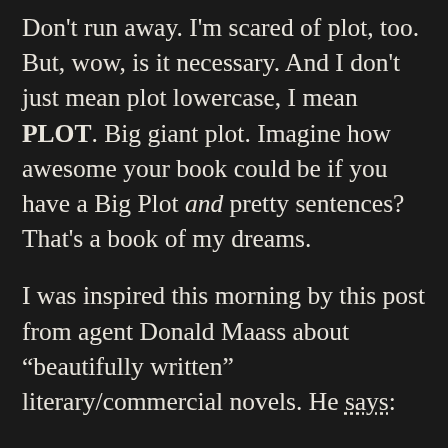Don't run away. I'm scared of plot, too. But, wow, is it necessary. And I don't just mean plot lowercase, I mean PLOT. Big giant plot. Imagine how awesome your book could be if you have a Big Plot and pretty sentences? That's a book of my dreams.
I was inspired this morning by this post from agent Donald Maass about “beautifully written” literary/commercial novels. He says:
High impact doesn’t just mean high sales. It means moving readers’ hearts, shaking their convictions and even changing their world. Strong plot alone can’t do that. A journey by